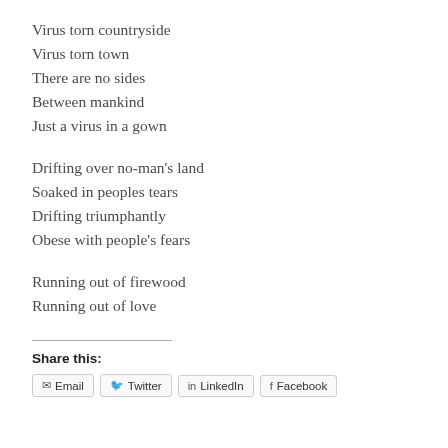Virus torn countryside
Virus torn town
There are no sides
Between mankind
Just a virus in a gown
Drifting over no-man's land
Soaked in peoples tears
Drifting triumphantly
Obese with people's fears
Running out of firewood
Running out of love
Share this:
Email   Twitter   LinkedIn   Facebook